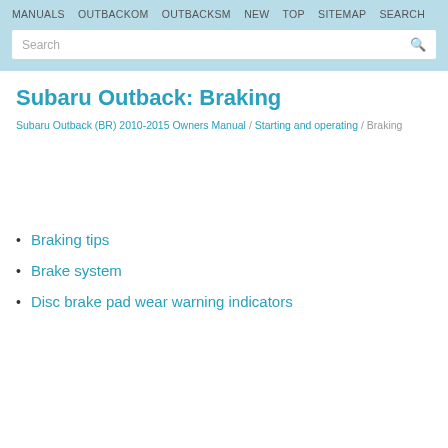MANUALS OUTBACKOM OUTBACKSM NEW TOP SITEMAP SEARCH
Subaru Outback: Braking
Subaru Outback (BR) 2010-2015 Owners Manual / Starting and operating / Braking
Braking tips
Brake system
Disc brake pad wear warning indicators